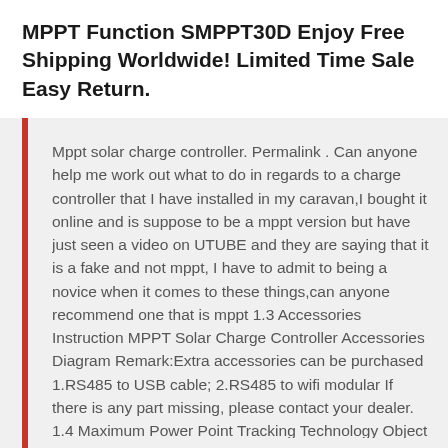MPPT Function SMPPT30D Enjoy Free Shipping Worldwide! Limited Time Sale Easy Return.
Mppt solar charge controller. Permalink . Can anyone help me work out what to do in regards to a charge controller that I have installed in my caravan,I bought it online and is suppose to be a mppt version but have just seen a video on UTUBE and they are saying that it is a fake and not mppt, I have to admit to being a novice when it comes to these things,can anyone recommend one that is mppt 1.3 Accessories Instruction MPPT Solar Charge Controller Accessories Diagram Remark:Extra accessories can be purchased 1.RS485 to USB cable; 2.RS485 to wifi modular If there is any part missing, please contact your dealer. 1.4 Maximum Power Point Tracking Technology Object Quantity Description A 1 unit MPPT solar charge Controller